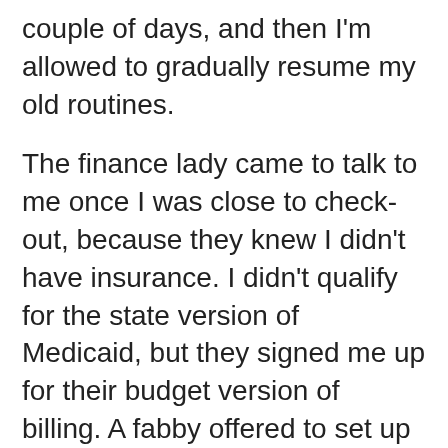couple of days, and then I'm allowed to gradually resume my old routines.
The finance lady came to talk to me once I was close to check-out, because they knew I didn't have insurance. I didn't qualify for the state version of Medicaid, but they signed me up for their budget version of billing. A fabby offered to set up a Go Fund Me for my bills (many thanks to Jeff Edwards), and I said yes. Here's the link.
I'm really grateful for social media at times like this. Your fabbies can commiserate with you and offer help and advice. I think this